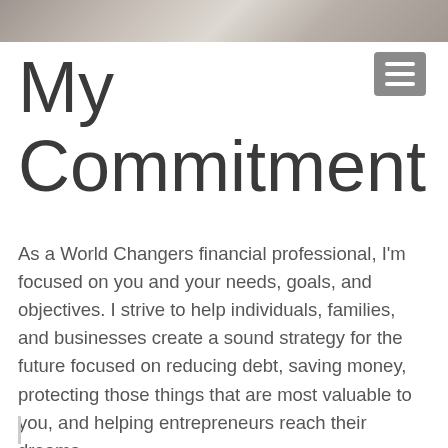[Figure (photo): Partial photo strip at top of page showing hands/wrist with a watch, cropped]
My Commitment
As a World Changers financial professional, I'm focused on you and your needs, goals, and objectives. I strive to help individuals, families, and businesses create a sound strategy for the future focused on reducing debt, saving money, protecting those things that are most valuable to you, and helping entrepreneurs reach their dreams.